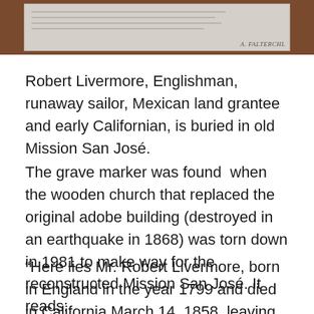[Figure (photo): Photo of a grave marker plaque with text, shown against a brown wooden background. The plaque appears to be a light beige/cream colored stone or metal marker. Signature 'A. FALTERCHL' visible at bottom right of plaque.]
Robert Livermore, Englishman, runaway sailor, Mexican land grantee and early Californian, is buried in old Mission San José.
The grave marker was found  when the wooden church that replaced the original adobe building (destroyed in an earthquake in 1868) was torn down in 1981 to make way for the reconstructed Mission San José. It reads:
“Here lies Mr. Robert Livermore, born in England in the year 1799 and died in California March 14, 1858, leaving behind a large family mourning his death.”
My granddaughter and I were surprised and delighted to see his grave, since she lives in Livermore, but had no